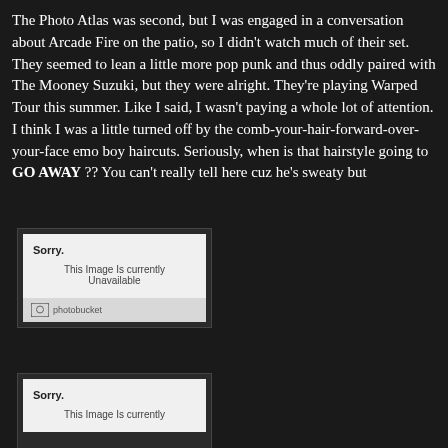The Photo Atlas was second, but I was engaged in a conversation about Arcade Fire on the patio, so I didn't watch much of their set. They seemed to lean a little more pop punk and thus oddly paired with The Mooney Suzuki, but they were alright. They're playing Warped Tour this summer. Like I said, I wasn't paying a whole lot of attention. I think I was a little turned off by the comb-your-hair-forward-over-your-face emo boy haircuts. Seriously, when is that hairstyle going to GO AWAY ?? You can't really tell here cuz he's sweaty but
[Figure (photo): Photobucket placeholder showing 'Sorry. This Image Is currently Unavailable' with photobucket logo at bottom]
[Figure (photo): Second Photobucket placeholder showing 'Sorry. This Image Is currently Unavailable' - partially visible]